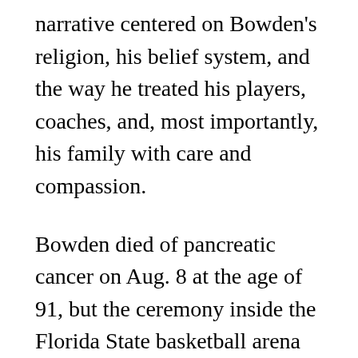narrative centered on Bowden's religion, his belief system, and the way he treated his players, coaches, and, most importantly, his family with care and compassion.
Bowden died of pancreatic cancer on Aug. 8 at the age of 91, but the ceremony inside the Florida State basketball arena was more of a celebration of his life than anything else.